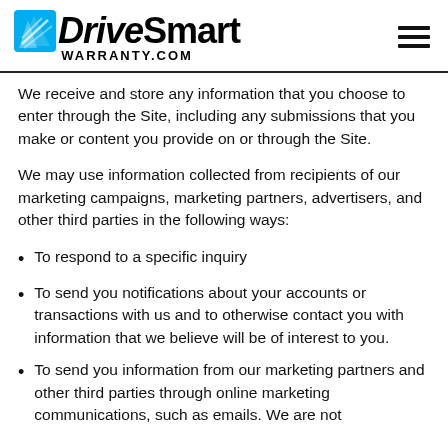DriveSmart WARRANTY.COM
We receive and store any information that you choose to enter through the Site, including any submissions that you make or content you provide on or through the Site.
We may use information collected from recipients of our marketing campaigns, marketing partners, advertisers, and other third parties in the following ways:
To respond to a specific inquiry
To send you notifications about your accounts or transactions with us and to otherwise contact you with information that we believe will be of interest to you.
To send you information from our marketing partners and other third parties through online marketing communications, such as emails. We are not